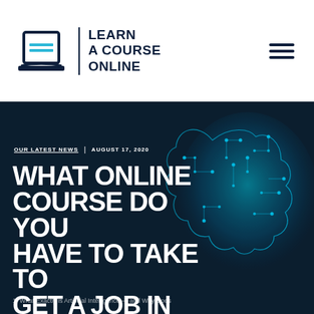LEARN A COURSE ONLINE
[Figure (screenshot): Website hero section with dark background showing a glowing circuit-board brain graphic on the right side]
OUR LATEST NEWS  |  AUGUST 17, 2020
WHAT ONLINE COURSE DO YOU HAVE TO TAKE TO GET A JOB IN
1. What Exactly is Artificial Intelligence — and Why Does